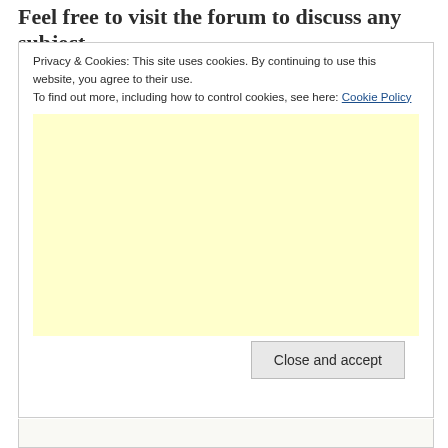Feel free to visit the forum to discuss any subject
Privacy & Cookies: This site uses cookies. By continuing to use this website, you agree to their use.
To find out more, including how to control cookies, see here: Cookie Policy
[Figure (other): Light yellow advertisement placeholder block]
Close and accept